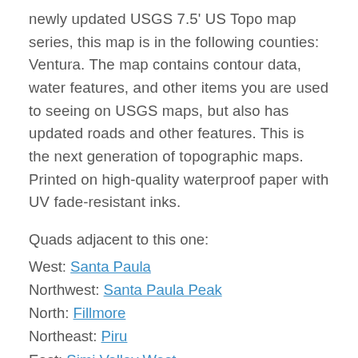newly updated USGS 7.5' US Topo map series, this map is in the following counties: Ventura. The map contains contour data, water features, and other items you are used to seeing on USGS maps, but also has updated roads and other features. This is the next generation of topographic maps. Printed on high-quality waterproof paper with UV fade-resistant inks.
Quads adjacent to this one:
West: Santa Paula
Northwest: Santa Paula Peak
North: Fillmore
Northeast: Piru
East: Simi Valley West
Southeast: Thousand Oaks
South: Newbury Park